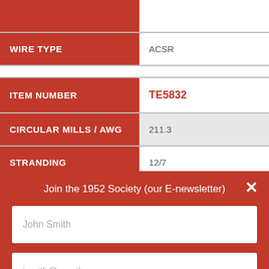| Field | Value |
| --- | --- |
| WIRE TYPE | ACSR |
| ITEM NUMBER | TE5832 |
| CIRCULAR MILLS / AWG | 211.3 |
| STRANDING | 12/7 |
Join the 1952 Society (our E-newsletter)
John Smith
jsmith@gmail.com
SUBMIT